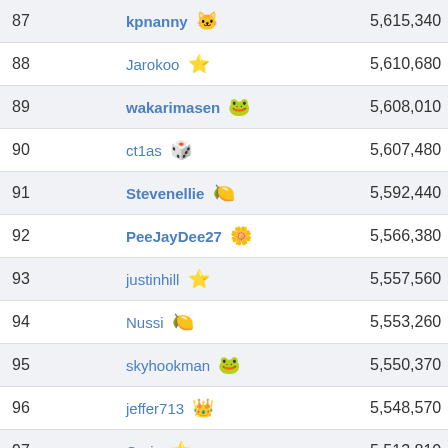| Rank | Username | Score |
| --- | --- | --- |
| 87 | kpnanny 🐱 | 5,615,340 |
| 88 | Jarokoo ⭐ | 5,610,680 |
| 89 | wakarimasen 🐷 | 5,608,010 |
| 90 | ct1as 🎲 | 5,607,480 |
| 91 | Stevenellie 🍋 | 5,592,440 |
| 92 | PeeJayDee27 🌟 | 5,566,380 |
| 93 | justinhill ⭐ | 5,557,560 |
| 94 | Nussi 🍋 | 5,553,260 |
| 95 | skyhookman 🐷 | 5,550,370 |
| 96 | jeffer713 👑 | 5,548,570 |
| 97 | Craig ⭐ | 5,513,810 |
| 98 | psquare53 🚀 | 5,513,430 |
| 99 | ... | 5,500,000 |